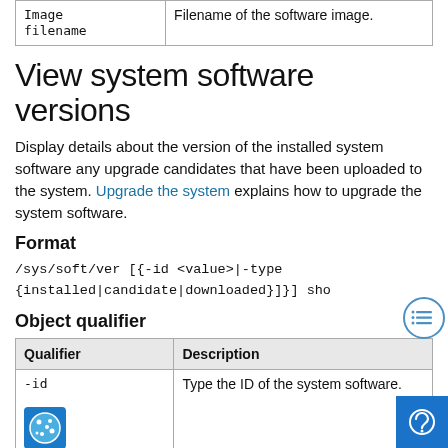|  |  |
| --- | --- |
| Image filename | Filename of the software image. |
View system software versions
Display details about the version of the installed system software any upgrade candidates that have been uploaded to the system. Upgrade the system explains how to upgrade the system software.
Format
Object qualifier
| Qualifier | Description |
| --- | --- |
| -id | Type the ID of the system software. |
| -type | Type the software type. Value is one of the |